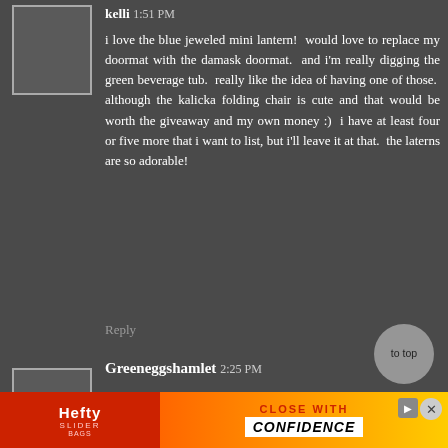[Figure (other): User avatar placeholder box (grey outlined square) for user kelli]
kelli 1:51 PM
i love the blue jeweled mini lantern!  would love to replace my doormat with the damask doormat.  and i'm really digging the green beverage tub.  really like the idea of having one of those.  although the kalicka folding chair is cute and that would be worth the giveaway and my own money :)  i have at least four or five more that i want to list, but i'll leave it at that. the laterns are so adorable!
Reply
[Figure (other): User avatar placeholder box (grey outlined square) for user Greenaggshamlet]
Greenaggshamlet 2:25 PM
I'd pick the Outdoor Swingasan Chair, the Outdoor Green Pavilion Cushion, and the Outdoor Flatweave Rug.  I'd put all of this stuff in my sunroom, which I'm doing in orange and green but so far has one sad pillow and some wicker furniture found at a
[Figure (other): Advertisement banner for Hefty Slider bags with tagline CLOSE WITH CONFIDENCE]